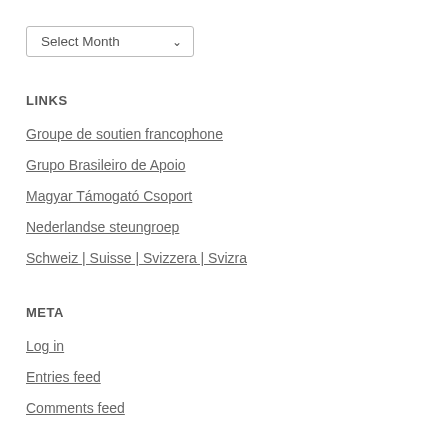Select Month
LINKS
Groupe de soutien francophone
Grupo Brasileiro de Apoio
Magyar Támogató Csoport
Nederlandse steungroep
Schweiz | Suisse | Svizzera | Svizra
META
Log in
Entries feed
Comments feed